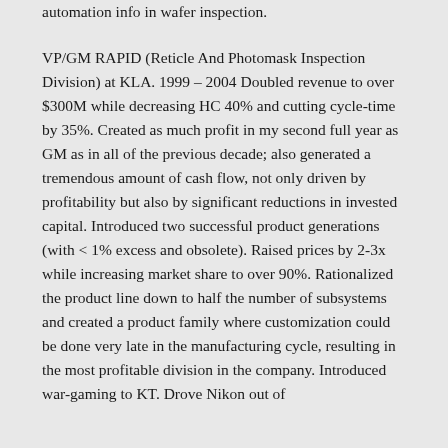automation info in wafer inspection. VP/GM RAPID (Reticle And Photomask Inspection Division) at KLA. 1999 – 2004 Doubled revenue to over $300M while decreasing HC 40% and cutting cycle-time by 35%. Created as much profit in my second full year as GM as in all of the previous decade; also generated a tremendous amount of cash flow, not only driven by profitability but also by significant reductions in invested capital. Introduced two successful product generations (with < 1% excess and obsolete). Raised prices by 2-3x while increasing market share to over 90%. Rationalized the product line down to half the number of subsystems and created a product family where customization could be done very late in the manufacturing cycle, resulting in the most profitable division in the company. Introduced war-gaming to KT. Drove Nikon out of